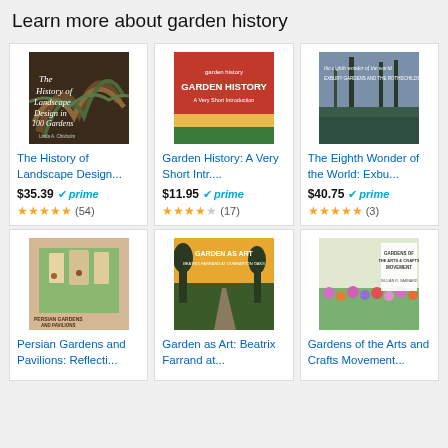Learn more about garden history
[Figure (illustration): Book cover: The History of Landscape Design in 100 Gardens by Linda A. Chisholm]
The History of Landscape Design...
$35.39 prime ★★★★½ (54)
[Figure (illustration): Book cover: Garden History: A Very Short Introduction - red cover]
Garden History: A Very Short Intr....
$11.95 prime ★★★★☆ (17)
[Figure (illustration): Book cover: The Eighth Wonder of the World: Exbu... - forest/misty scene]
The Eighth Wonder of the World: Exbu...
$40.75 prime ★★★★★ (3)
[Figure (illustration): Book cover: Persian Gardens and Pavilions - illustrated Persian garden]
Persian Gardens and Pavilions: Reflecti...
[Figure (illustration): Book cover: Garden as Art - garden path at sunset]
Garden as Art: Beatrix Farrand at...
[Figure (illustration): Book cover: Gardens of the Arts and Crafts Movement - colorful garden]
Gardens of the Arts and Crafts Movement...